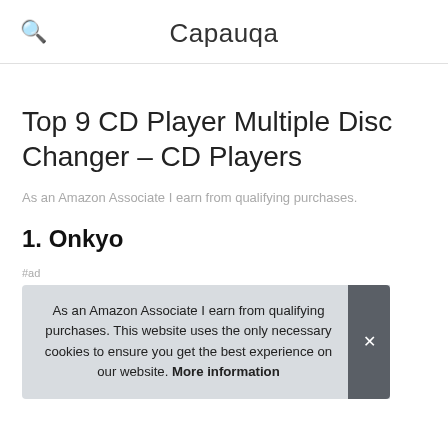Capauqa
Top 9 CD Player Multiple Disc Changer – CD Players
As an Amazon Associate I earn from qualifying purchases.
1. Onkyo
As an Amazon Associate I earn from qualifying purchases. This website uses the only necessary cookies to ensure you get the best experience on our website. More information